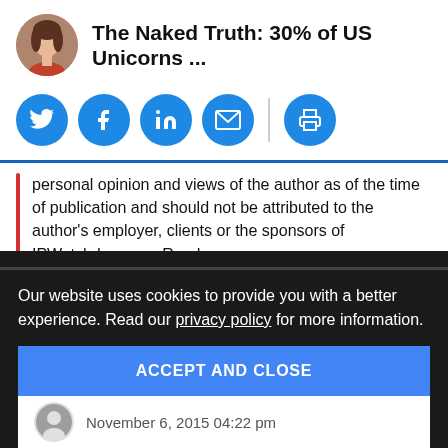The Naked Truth: 30% of US Unicorns ...
[Figure (infographic): Social sharing buttons: Twitter, Facebook, LinkedIn, Email (with divider), Print]
personal opinion and views of the author as of the time of publication and should not be attributed to the author's employer, clients or the sponsors of IPWatchdog.com. Read more.
JOIN THE DISCUSSION
11 comments so far.
Our website uses cookies to provide you with a better experience. Read our privacy policy for more information.
ACCEPT AND CLOSE
November 6, 2015 04:22 pm